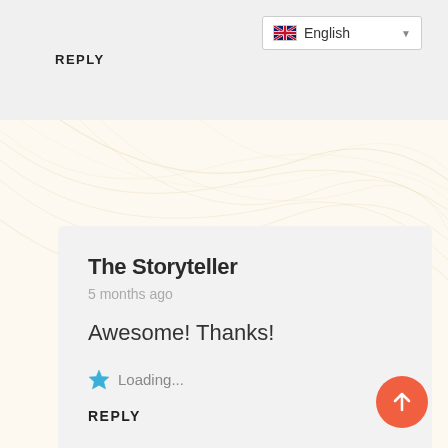REPLY
English
[Figure (photo): Circular avatar photo of a man with trees in background]
The Storyteller
5 months ago
Awesome! Thanks!
Loading...
REPLY